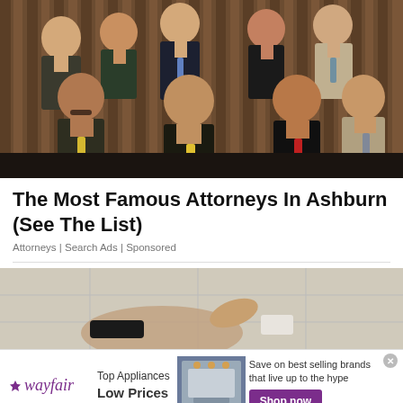[Figure (photo): Group photo of attorneys in formal business attire, posed in two rows against a wood-paneled background. Seven people standing in back row and two seated in front.]
The Most Famous Attorneys In Ashburn (See The List)
Attorneys | Search Ads | Sponsored
[Figure (photo): Close-up photo of a hand with a dark watch touching or pressing something on a light tiled surface.]
[Figure (infographic): Wayfair advertisement banner: wayfair logo, Top Appliances Low Prices text, appliance image, Save on best selling brands that live up to the hype, Shop now button.]